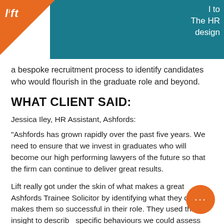[Figure (logo): Lift company logo in white italic text on orange triangle in top-left corner]
l to
The HR
design
a bespoke recruitment process to identify candidates who would flourish in the graduate role and beyond.
WHAT CLIENT SAID:
Jessica Iley, HR Assistant, Ashfords:
"Ashfords has grown rapidly over the past five years. We need to ensure that we invest in graduates who will become our high performing lawyers of the future so that the firm can continue to deliver great results.
Lift really got under the skin of what makes a great Ashfords Trainee Solicitor by identifying what they do that makes them so successful in their role. They used this insight to describe specific behaviours we could assess our graduate candidates against. Our new assessment process is both